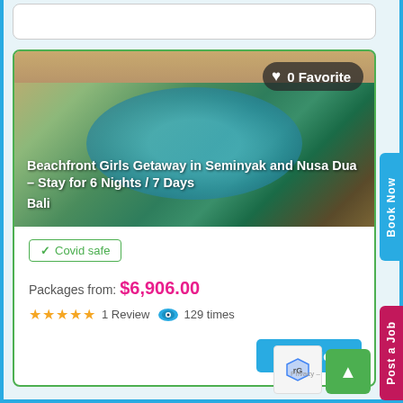[Figure (photo): Aerial view of a beachfront resort in Bali with a pool surrounded by tropical landscaping, sandy beach visible in background. Shows 'Beachfront Girls Getaway in Seminyak and Nusa Dua – Stay for 6 Nights / 7 Days Bali' text overlay and '0 Favorite' badge.]
✓ Covid safe
Packages from: $6,906.00
★★★★★ 1 Review 👁 129 times
Book Now
Book Now
Post a Job